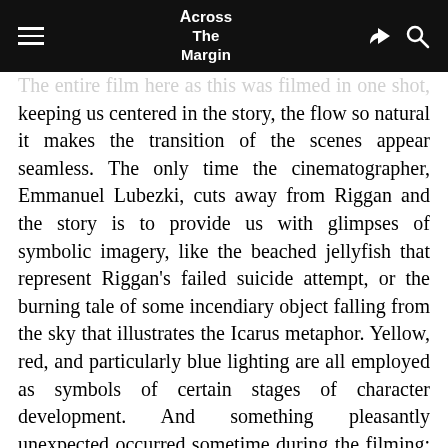Across The Margin
The entire film here as this was filmed in one shot, keeping us centered in the story, the flow so natural it makes the transition of the scenes appear seamless. The only time the cinematographer, Emmanuel Lubezki, cuts away from Riggan and the story is to provide us with glimpses of symbolic imagery, like the beached jellyfish that represent Riggan's failed suicide attempt, or the burning tale of some incendiary object falling from the sky that illustrates the Icarus metaphor. Yellow, red, and particularly blue lighting are all employed as symbols of certain stages of character development. And something pleasantly unexpected occurred sometime during the filming: Iñárritu showed us that he truly understands New York City, as we were all treated to through